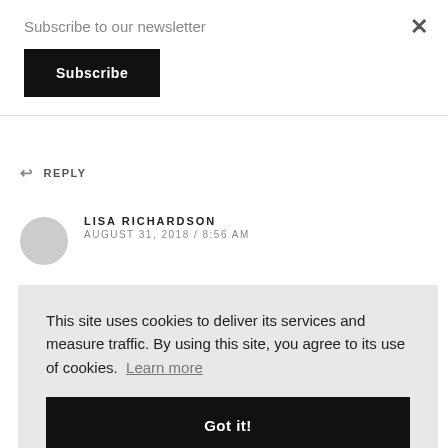Subscribe to our newsletter
Subscribe
×
↵ REPLY
LISA RICHARDSON
AUGUST 31, 2018 / 8:56 AM
This site uses cookies to deliver its services and measure traffic. By using this site, you agree to its use of cookies. Learn more
Got it!
MIREILLE